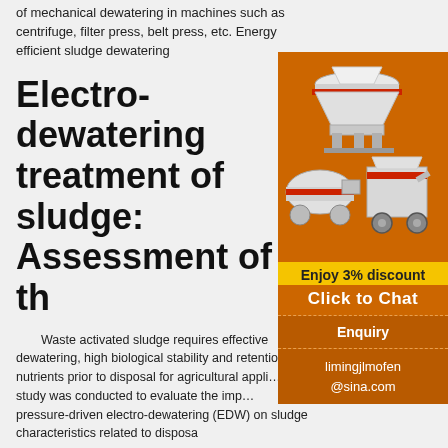of mechanical dewatering in machines such as centrifuge, filter press, belt press, etc. Energy efficient sludge dewatering
Electro-dewatering treatment of sludge: Assessment of the
Waste activated sludge requires effective dewatering, high biological stability and retention of nutrients prior to disposal for agricultural application. The study was conducted to evaluate the impact of pressure-driven electro-dewatering (EDW) on sludge characteristics related to disposal
[PDF]
Wastewater management and
[Figure (illustration): Advertisement panel with orange background showing industrial machinery (crusher/mill equipment), a yellow 'Enjoy 3% discount' bar, orange 'Click to Chat' text, an Enquiry section, and email limingjlmofen@sina.com]